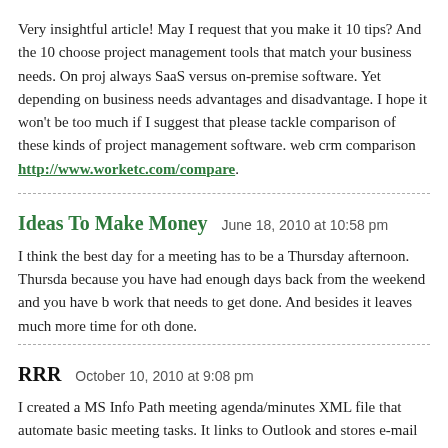Very insightful article! May I request that you make it 10 tips? And the 10 choose project management tools that match your business needs. On proj always SaaS versus on-premise software. Yet depending on business needs advantages and disadvantage. I hope it won't be too much if I suggest that please tackle comparison of these kinds of project management software. web crm comparison http://www.worketc.com/compare.
Ideas To Make Money   June 18, 2010 at 10:58 pm
I think the best day for a meeting has to be a Thursday afternoon. Thursda because you have had enough days back from the weekend and you have b work that needs to get done. And besides it leaves much more time for oth done.
RRR   October 10, 2010 at 9:08 pm
I created a MS Info Path meeting agenda/minutes XML file that automate basic meeting tasks. It links to Outlook and stores e-mail addresses that it agenda and minutes. I could keep attendance and automated clearing the a